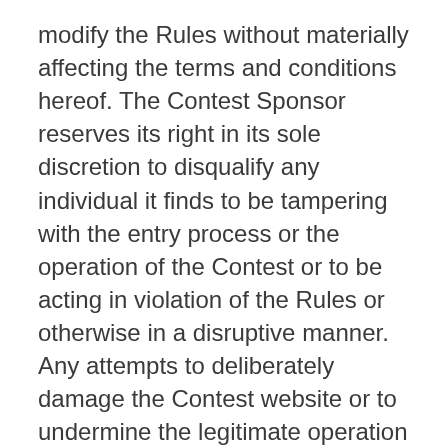modify the Rules without materially affecting the terms and conditions hereof. The Contest Sponsor reserves its right in its sole discretion to disqualify any individual it finds to be tampering with the entry process or the operation of the Contest or to be acting in violation of the Rules or otherwise in a disruptive manner. Any attempts to deliberately damage the Contest website or to undermine the legitimate operation of this Contest is a violation of criminal and civil laws and should such an attempt be made the Contest Sponsor reserves its right to seek remedies and damages to the fullest extent of the law. Contest Sponsor shall not be held responsible for any errors or negligence that may arise or occur in